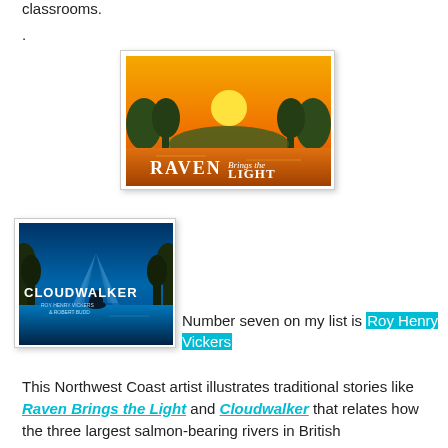classrooms.
.
[Figure (illustration): Book cover of 'Raven Brings the Light' — orange/golden sky with silhouetted trees and a bright sun, white text reading RAVEN Brings the LIGHT]
[Figure (illustration): Book cover of 'Cloudwalker' — blue toned scene with silhouetted trees reflected in water, an animal figure in the middle, white text reading CLOUDWALKER by ROY HENRY VICKERS & ROBERT BUDD]
Number seven on my list is Roy Henry Vickers
This Northwest Coast artist illustrates traditional stories like Raven Brings the Light and Cloudwalker that relates how the three largest salmon-bearing rivers in British